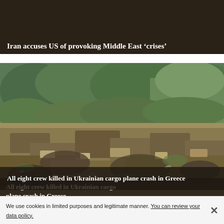[Figure (screenshot): Dark banner with white bold text headline about Iran accusing US of provoking Middle East crises]
Iran accuses US of provoking Middle East ‘crises’
[Figure (photo): Aerial/ground-level photo of a plane crash site in a field with debris scattered among vegetation and trees in the background]
All eight crew killed in Ukrainian cargo plane crash in Greece
We use cookies in limited purposes and legitimate manner. You can review your data policy.